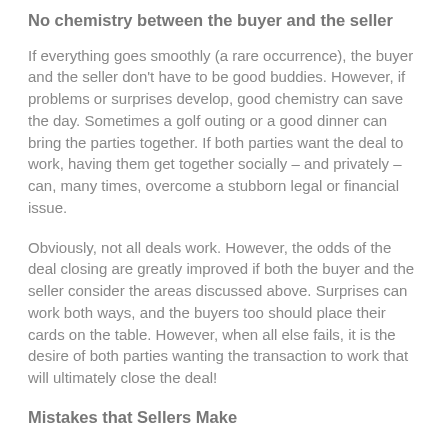No chemistry between the buyer and the seller
If everything goes smoothly (a rare occurrence), the buyer and the seller don't have to be good buddies. However, if problems or surprises develop, good chemistry can save the day. Sometimes a golf outing or a good dinner can bring the parties together. If both parties want the deal to work, having them get together socially – and privately – can, many times, overcome a stubborn legal or financial issue.
Obviously, not all deals work. However, the odds of the deal closing are greatly improved if both the buyer and the seller consider the areas discussed above. Surprises can work both ways, and the buyers too should place their cards on the table. However, when all else fails, it is the desire of both parties wanting the transaction to work that will ultimately close the deal!
Mistakes that Sellers Make